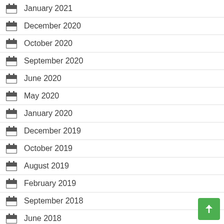January 2021
December 2020
October 2020
September 2020
June 2020
May 2020
January 2020
December 2019
October 2019
August 2019
February 2019
September 2018
June 2018